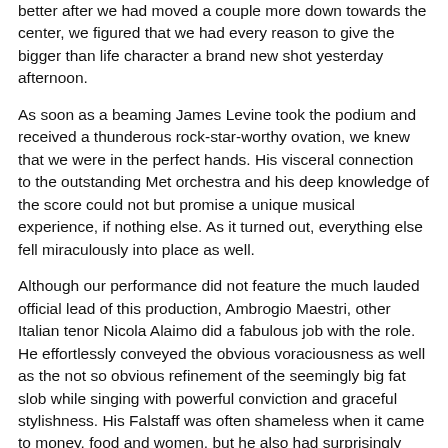better after we had moved a couple more down towards the center, we figured that we had every reason to give the bigger than life character a brand new shot yesterday afternoon.
As soon as a beaming James Levine took the podium and received a thunderous rock-star-worthy ovation, we knew that we were in the perfect hands. His visceral connection to the outstanding Met orchestra and his deep knowledge of the score could not but promise a unique musical experience, if nothing else. As it turned out, everything else fell miraculously into place as well.
Although our performance did not feature the much lauded official lead of this production, Ambrogio Maestri, other Italian tenor Nicola Alaimo did a fabulous job with the role.
He effortlessly conveyed the obvious voraciousness as well as the not so obvious refinement of the seemingly big fat slob while singing with powerful conviction and graceful stylishness. His Falstaff was often shameless when it came to money, food and women, but he also had surprisingly philosophical and truly endearing moments too. Maybe it was simply the genuine Italian warmth he brought to the part, but he was a constant joy to watch and listen to.